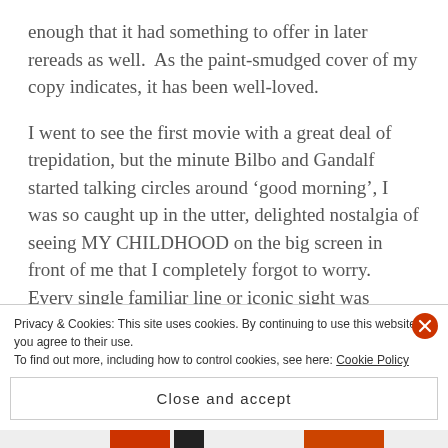enough that it had something to offer in later rereads as well.  As the paint-smudged cover of my copy indicates, it has been well-loved.
I went to see the first movie with a great deal of trepidation, but the minute Bilbo and Gandalf started talking circles around 'good morning', I was so caught up in the utter, delighted nostalgia of seeing MY CHILDHOOD on the big screen in front of me that I completely forgot to worry.  Every single familiar line or iconic sight was greeted with delight.  The Riddles in the Dark scene, in particular, is one of
Privacy & Cookies: This site uses cookies. By continuing to use this website, you agree to their use.
To find out more, including how to control cookies, see here: Cookie Policy
Close and accept